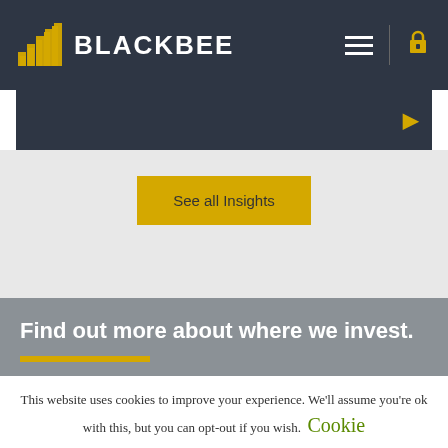[Figure (logo): Blackbee logo with gold stacked bars icon and white BLACKBEE text on dark navy background, with hamburger menu and lock icon on right]
[Figure (screenshot): Dark navy slider band with a yellow right-arrow button on the right side]
See all Insights
Find out more about where we invest.
This website uses cookies to improve your experience. We'll assume you're ok with this, but you can opt-out if you wish. Cookie settings ACCEPT